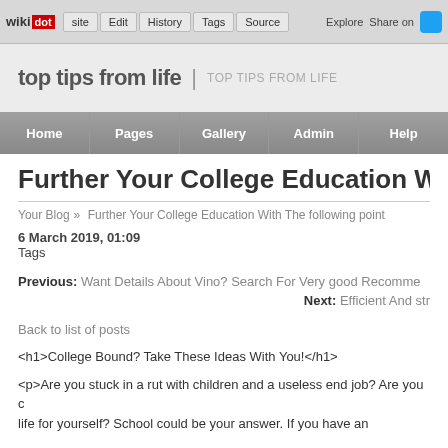wikidot | Edit | History | Tags | Source | Explore | Share on
top tips from life | TOP TIPS FROM LIFE
Home | Pages | Gallery | Admin | Help
Further Your College Education With The following point
Your Blog » Further Your College Education With The following point
6 March 2019, 01:09
Tags
Previous: Want Details About Vino? Search For Very good Recomme...
Next: Efficient And str...
Back to list of posts
<h1>College Bound? Take These Ideas With You!</h1>
<p>Are you stuck in a rut with children and a useless end job? Are you c life for yourself? School could be your answer. If you have an...